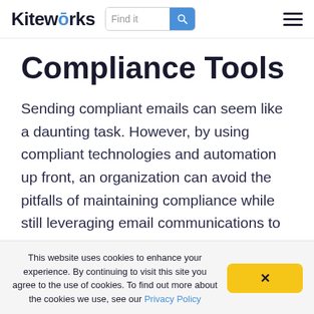Kiteworks — Find it [search] [menu]
Compliance Tools
Sending compliant emails can seem like a daunting task. However, by using compliant technologies and automation up front, an organization can avoid the pitfalls of maintaining compliance while still leveraging email communications to communicate with customers and
This website uses cookies to enhance your experience. By continuing to visit this site you agree to the use of cookies. To find out more about the cookies we use, see our Privacy Policy